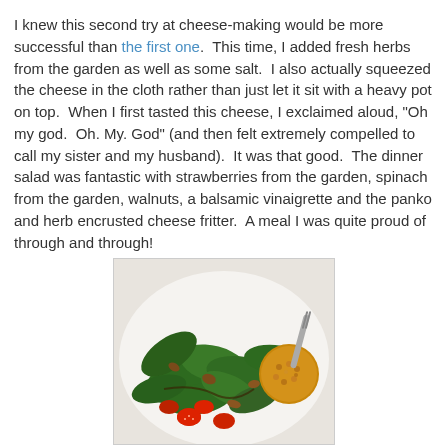I knew this second try at cheese-making would be more successful than the first one.  This time, I added fresh herbs from the garden as well as some salt.  I also actually squeezed the cheese in the cloth rather than just let it sit with a heavy pot on top.  When I first tasted this cheese, I exclaimed aloud, "Oh my god.  Oh. My. God" (and then felt extremely compelled to call my sister and my husband).  It was that good.  The dinner salad was fantastic with strawberries from the garden, spinach from the garden, walnuts, a balsamic vinaigrette and the panko and herb encrusted cheese fritter.  A meal I was quite proud of through and through!
[Figure (photo): A white plate with a spinach salad topped with sliced strawberries, walnuts/pecans, balsamic dressing, and a round golden-brown panko-encrusted cheese fritter, with a fork visible in the background.]